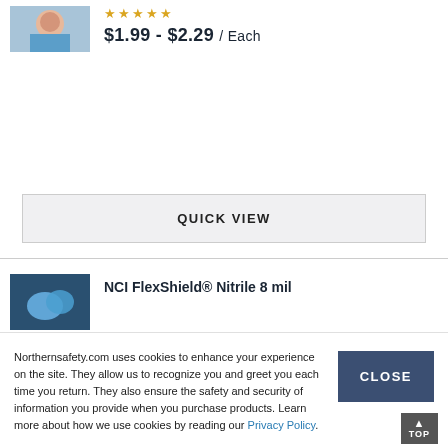[Figure (photo): Partial product image showing a person, cropped at top]
★★★★★
$1.99 - $2.29 / Each
QUICK VIEW
[Figure (photo): Product image showing blue nitrile gloves on dark background]
NCI FlexShield® Nitrile 8 mil
Northernsafety.com uses cookies to enhance your experience on the site. They allow us to recognize you and greet you each time you return. They also ensure the safety and security of information you provide when you purchase products. Learn more about how we use cookies by reading our Privacy Policy.
CLOSE
TOP